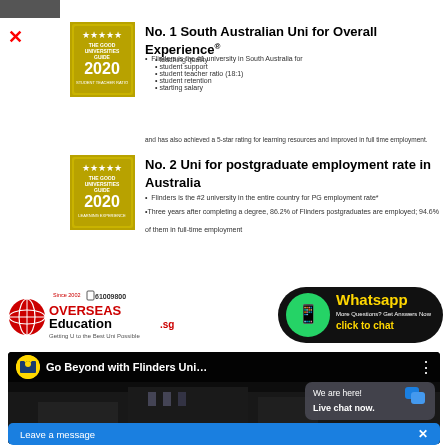No. 1 South Australian Uni for Overall Experience®
Flinders is the #1 university in South Australia for
• teaching quality
• student support
• student teacher ratio (18:1)
• student retention
• starting salary
and has also achieved a 5-star rating for learning resources and improved in full time employment.
No. 2 Uni for postgraduate employment rate in Australia
Flinders is the #2 university in the entire country for PG employment rate*
•Three years after completing a degree, 86.2% of Flinders postgraduates are employed; 94.6% of them in full-time employment
[Figure (logo): OverseasEducation.sg logo with tagline 'Getting U to the Best Uni Possible', Since 2002, phone 61009800]
[Figure (infographic): WhatsApp button: 'Whatsapp More Questions? Get Answers Now click to chat']
[Figure (screenshot): YouTube video thumbnail: 'Go Beyond with Flinders Uni...' with Flinders University logo]
We are here! Live chat now.
Leave a message